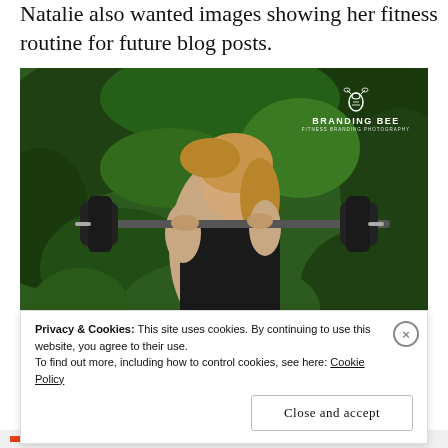Natalie also wanted images showing her fitness routine for future blog posts.
[Figure (photo): Woman in black tank top carrying a heavy barbell on her shoulders outdoors in front of green foliage, with Branding Bee watermark in the top right corner.]
Privacy & Cookies: This site uses cookies. By continuing to use this website, you agree to their use.
To find out more, including how to control cookies, see here: Cookie Policy
Close and accept